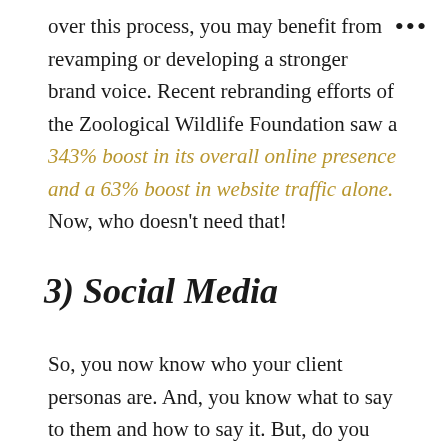over this process, you may benefit from revamping or developing a stronger brand voice. Recent rebranding efforts of the Zoological Wildlife Foundation saw a 343% boost in its overall online presence and a 63% boost in website traffic alone. Now, who doesn't need that!
3) Social Media
So, you now know who your client personas are. And, you know what to say to them and how to say it. But, do you know?